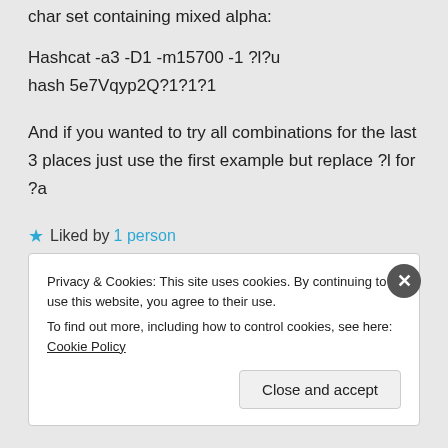char set containing mixed alpha:
Hashcat -a3 -D1 -m15700 -1 ?l?u
hash 5e7Vqyp2Q?1?1?1
And if you wanted to try all combinations for the last 3 places just use the first example but replace ?l for ?a
★ Liked by 1 person
Privacy & Cookies: This site uses cookies. By continuing to use this website, you agree to their use.
To find out more, including how to control cookies, see here: Cookie Policy
Close and accept